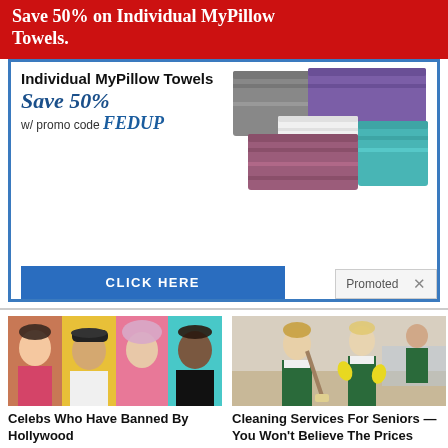Save 50% on Individual MyPillow Towels.
[Figure (photo): MyPillow Towels advertisement with stacked towels in gray, purple, white, and teal colors. Shows 'Individual MyPillow Towels Save 50% w/ promo code FEDUP' with a blue CLICK HERE button. Marked as Promoted.]
[Figure (photo): Collage of celebrity faces including a woman in pink, man with cap, woman with pink-white hair, and man in black]
Celebs Who Have Banned By Hollywood
🔥 3,581
[Figure (photo): Two women in green aprons holding cleaning tools, with a man in the background, indoor cleaning service scene]
Cleaning Services For Seniors — You Won't Believe The Prices
🔥 6,128